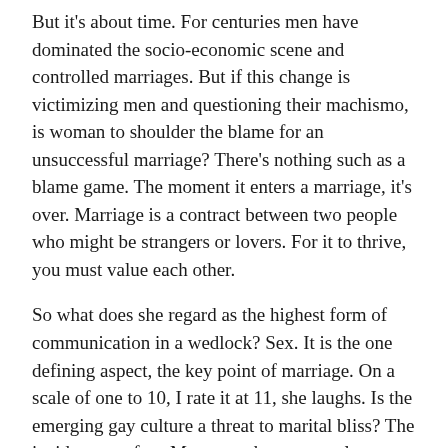But it's about time. For centuries men have dominated the socio-economic scene and controlled marriages. But if this change is victimizing men and questioning their machismo, is woman to shoulder the blame for an unsuccessful marriage? There's nothing such as a blame game. The moment it enters a marriage, it's over. Marriage is a contract between two people who might be strangers or lovers. For it to thrive, you must value each other.
So what does she regard as the highest form of communication in a wedlock? Sex. It is the one defining aspect, the key point of marriage. On a scale of one to 10, I rate it at 11, she laughs. Is the emerging gay culture a threat to marital bliss? The incidents are few. Moreover, heterosexual relationships don't pose a danger to marriages. I think, gay culture will gradually get recognition and develop as a sub-culture.
Cross-cultural marriages are on the rise. Are they a bane or a boon to the institution of marriage? I'd regard them as an asset. It is a global phenomenon which shows how radically marriage has redefined itself. Such unions indicate how adaptable you are and how much can you stretch your-self to accommodate